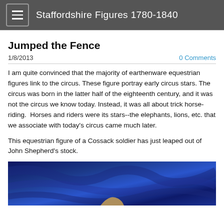Staffordshire Figures 1780-1840
Jumped the Fence
1/8/2013
0 Comments
I am quite convinced that the majority of earthenware equestrian figures link to the circus. These figure portray early circus stars. The circus was born in the latter half of the eighteenth century, and it was not the circus we know today. Instead, it was all about trick horse-riding.  Horses and riders were its stars--the elephants, lions, etc. that we associate with today's circus came much later.
This equestrian figure of a Cossack soldier has just leaped out of John Shepherd's stock.
[Figure (photo): Partial view of a Staffordshire equestrian figure of a Cossack soldier against a blue background, only the top portion visible at the bottom of the page.]